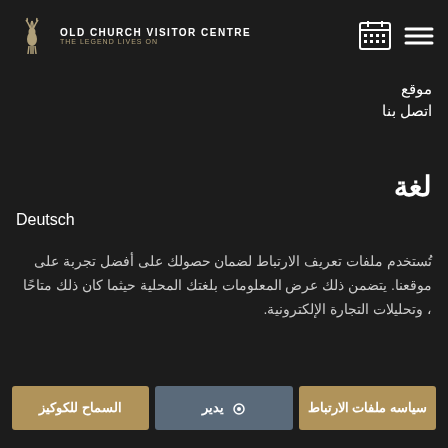[Figure (logo): Old Church Visitor Centre logo with deer icon, text 'OLD CHURCH VISITOR CENTRE' and 'THE LEGEND LIVES ON']
[Figure (other): Calendar grid icon and hamburger menu icon in top right]
موقع
اتصل بنا
لغة
Deutsch
تُستخدم ملفات تعريف الارتباط لضمان حصولك على أفضل تجربة على موقعنا. يتضمن ذلك عرض المعلومات بلغتك المحلية حيثما كان ذلك متاحًا ، وتحليلات التجارة الإلكترونية.
السماح للكوكيز
يدير
سياسه ملفات الارتباط